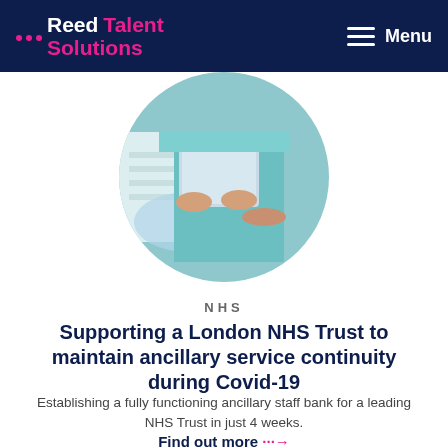[Figure (logo): Reed Talent Solutions logo — white 'Reed' text and pink 'Talent Solutions' text with three pink dots, on dark navy background]
Menu
[Figure (photo): Circular cropped photo of NHS healthcare worker in teal scrubs holding a tablet/clipboard, with another person's hands visible]
NHS
Supporting a London NHS Trust to maintain ancillary service continuity during Covid-19
Establishing a fully functioning ancillary staff bank for a leading NHS Trust in just 4 weeks.
Find out more →
[Figure (photo): Partial circular cropped photo visible at bottom of page — grey/muted tones, second article image]